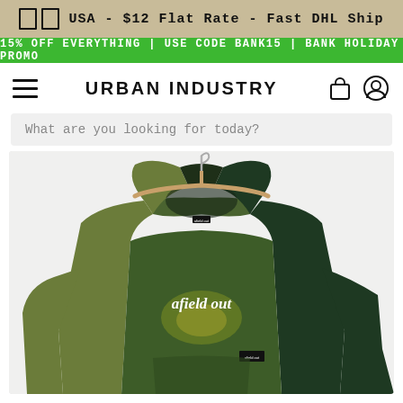USA - $12 Flat Rate - Fast DHL Ship
15% OFF EVERYTHING | USE CODE BANK15 | BANK HOLIDAY PROMO
URBAN INDUSTRY
What are you looking for today?
[Figure (photo): Afield Out hoodie sweatshirt in split olive/dark green tie-dye colorway, hanging on a wooden hanger against a white background, with 'afield out' text logo printed on chest]